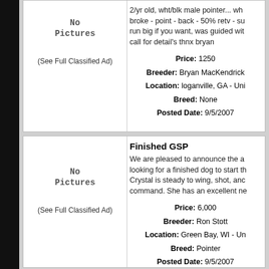No Pictures
(See Full Classified Ad)
2/yr old, wht/blk male pointer... wh broke - point - back - 50% retv - su run big if you want, was guided wit call for detail's thnx bryan
Price: 1250
Breeder: Bryan MacKendrick
Location: loganville, GA - Uni
Breed: None
Posted Date: 9/5/2007
No Pictures
(See Full Classified Ad)
Finished GSP
We are pleased to announce the a looking for a finished dog to start th Crystal is steady to wing, shot, anc command. She has an excellent ne
Price: 6,000
Breeder: Ron Stott
Location: Green Bay, WI - Un
Breed: Pointer
Posted Date: 9/5/2007